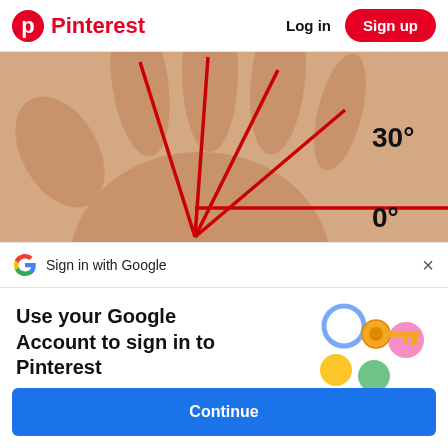Pinterest   Log in   Sign up
[Figure (photo): A human palm with red lines drawn from the wrist to each finger, indicating angles. Text overlays show '30°' near the top right and '0°' at the bottom right.]
Sign in with Google
Use your Google Account to sign in to Pinterest
No more passwords to remember. Signing in is fast, simple and secure.
[Figure (illustration): Google account illustration showing a golden key with colorful circular icons around it (blue, yellow, green, pink).]
Continue